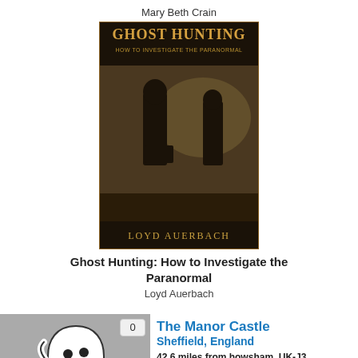Mary Beth Crain
[Figure (illustration): Book cover for Ghost Hunting: How to Investigate the Paranormal by Loyd Auerbach, showing dark atmospheric figures]
Ghost Hunting: How to Investigate the Paranormal
Loyd Auerbach
[Figure (illustration): Ghost icon illustration - white cartoon ghost with smiley face on grey background, with reflection below. Badge showing 0 in top right corner.]
The Manor Castle
Sheffield, England
42.6 miles from howsham, UK-J3
A white figure has been seen here since the 1980's. He is described as wearing "wearing gaiters and a plumed hat" by the owner's daughter. (Submitted by Chris Berglund)